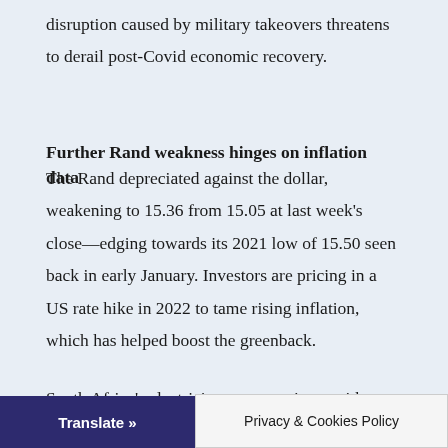disruption caused by military takeovers threatens to derail post-Covid economic recovery.
Further Rand weakness hinges on inflation data
The Rand depreciated against the dollar, weakening to 15.36 from 15.05 at last week's close—edging towards its 2021 low of 15.50 seen back in early January. Investors are pricing in a US rate hike in 2022 to tame rising inflation, which has helped boost the greenback.
South Africa's electricity woes continue, with planned power cuts expected to hurt the local economy. The
Translate » | Privacy & Cookies Policy